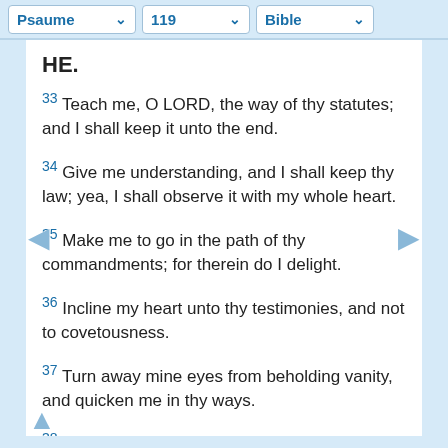Psaume  119  Bible
HE.
33 Teach me, O LORD, the way of thy statutes; and I shall keep it unto the end.
34 Give me understanding, and I shall keep thy law; yea, I shall observe it with my whole heart.
35 Make me to go in the path of thy commandments; for therein do I delight.
36 Incline my heart unto thy testimonies, and not to covetousness.
37 Turn away mine eyes from beholding vanity, and quicken me in thy ways.
38 Confirm thy word unto thy servant, which belongeth unto the fear of thee.